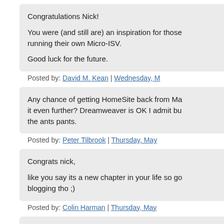Congratulations Nick!

You were (and still are) an inspiration for those running their own Micro-ISV.

Good luck for the future.
Posted by: David M. Kean | Wednesday, M...
Any chance of getting HomeSite back from Ma... it even further? Dreamweaver is OK I admit bu... the ants pants.
Posted by: Peter Tilbrook | Thursday, May...
Congrats nick,

like you say its a new chapter in your life so go... blogging tho ;)
Posted by: Colin Harman | Thursday, May...
Obviously Nick must to what he thinks is best ... fear a bleak future for TopStyle. I saw what I v...